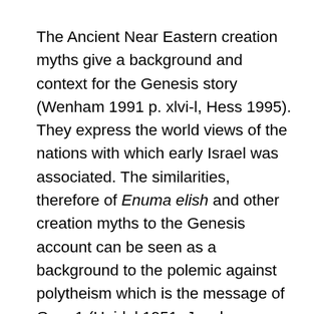The Ancient Near Eastern creation myths give a background and context for the Genesis story (Wenham 1991 p. xlvi-l, Hess 1995). They express the world views of the nations with which early Israel was associated. The similarities, therefore of Enuma elish and other creation myths to the Genesis account can be seen as a background to the polemic against polytheism which is the message of Gen. 1 (Heidel 1951, Jacobsen 1976 pp. 167-191, Hasel 1974 pp. 46, 81-102). Gen. 1 declares the world view of Israel as compared to that of Babylon. God is separate from and master of creation, not part of creation and